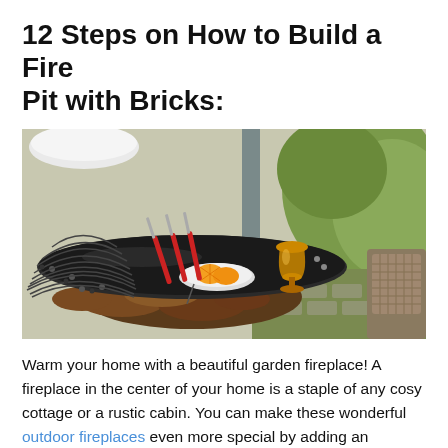12 Steps on How to Build a Fire Pit with Bricks:
[Figure (photo): Outdoor fire pit with a circular dark metal top surface, kitchen utensils with red handles, a white plate with orange slices, an amber goblet, and firewood stacked below. A wicker chair is visible on the right, with greenery in the background.]
Warm your home with a beautiful garden fireplace! A fireplace in the center of your home is a staple of any cosy cottage or a rustic cabin. You can make these wonderful outdoor fireplaces even more special by adding an adorable fireplace mantel! The process to make one can be tricky, but this article will go